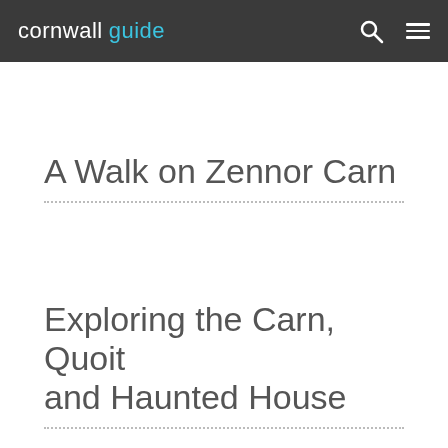cornwall guide
A Walk on Zennor Carn
Exploring the Carn, Quoit and Haunted House
[Figure (screenshot): YouTube video thumbnail for 'Zennor Carn - Walking and explor...' from the Cornwall Guide channel, showing rocky moorland landscape with green fields and coastline in the background. A red YouTube play button is centered on the image. A 4K badge appears in the lower left corner.]